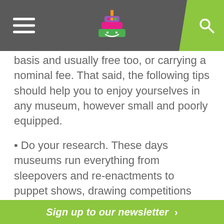[Navigation bar with hamburger menu, cake logo, and search icon]
basis and usually free too, or carrying a nominal fee. That said, the following tips should help you to enjoy yourselves in any museum, however small and poorly equipped.
• Do your research. These days museums run everything from sleepovers and re-enactments to puppet shows, drawing competitions and computer simulations. Follow your favourite venues on networking sites such as Instagram, Twitter and Facebook to be given a heads-up on upcoming events and programs.
• Avoid bank and school holidays where
Sign up to our newsletter >